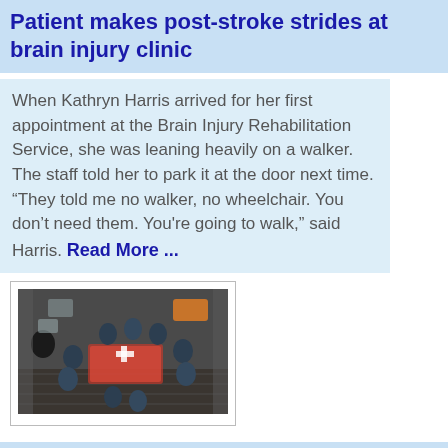Patient makes post-stroke strides at brain injury clinic
When Kathryn Harris arrived for her first appointment at the Brain Injury Rehabilitation Service, she was leaning heavily on a walker. The staff told her to park it at the door next time. “They told me no walker, no wheelchair. You don’t need them. You're going to walk,” said Harris. Read More ...
[Figure (photo): Aerial view of military medical personnel gathered around a patient on a stretcher inside a military aircraft, wearing green flight suits and gear]
USAFE shares knowledge with Polish aeromedical team
Members of the Polish air force aeromedical evacuation team visited Ramstein's aeromedical